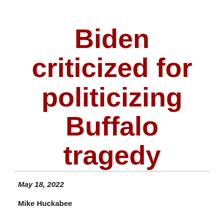Biden criticized for politicizing Buffalo tragedy
May 18, 2022
Mike Huckabee